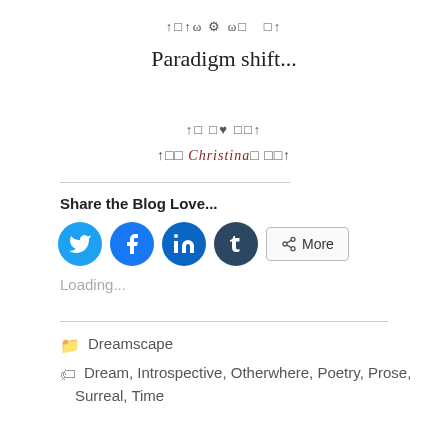↑□↑ω ⚙ ω□  □↑
Paradigm shift...
↑□ □ ♥ □□↑
↑□□ Christina□ □□↑
Share the Blog Love...
[Figure (other): Social sharing buttons: Twitter, Facebook, LinkedIn, Tumblr, and More]
Loading...
Dreamscape
Dream, Introspective, Otherwhere, Poetry, Prose, Surreal, Time